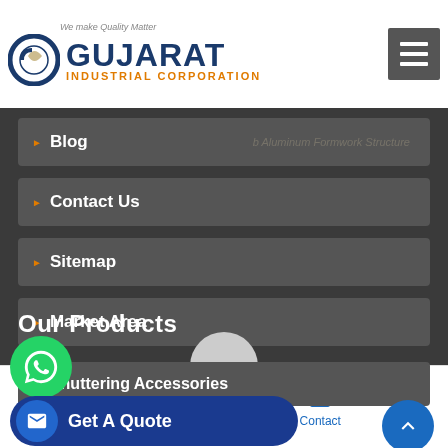Gujarat Industrial Corporation - We make Quality Matter
Blog
Contact Us
Sitemap
Market Area
Our Products
Shuttering Accessories
Get A Quote
Home | About Us | Our Range | Contact | Call Us